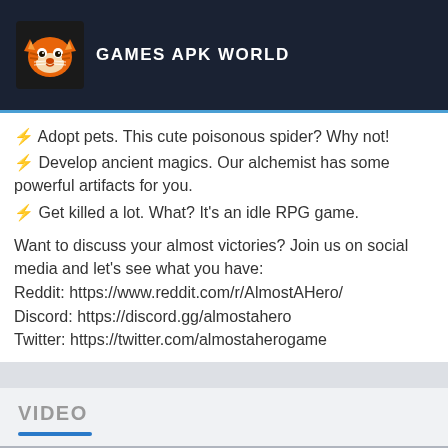GAMES APK WORLD
⚡ Adopt pets. This cute poisonous spider? Why not!
⚡ Develop ancient magics. Our alchemist has some powerful artifacts for you.
⚡ Get killed a lot. What? It's an idle RPG game.
Want to discuss your almost victories? Join us on social media and let's see what you have:
Reddit: https://www.reddit.com/r/AlmostAHero/
Discord: https://discord.gg/almostahero
Twitter: https://twitter.com/almostaherogame
VIDEO